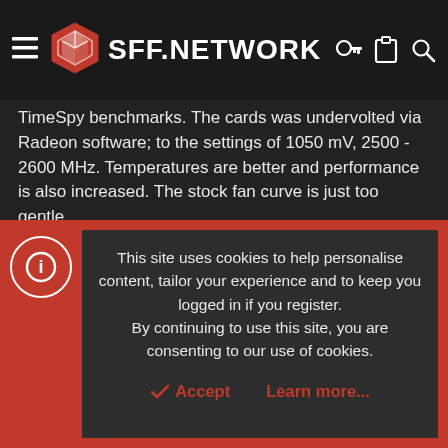SFF.NETWORK
TimeSpy benchmarks. The cards was undervolted via Radeon software; to the settings of 1050 mV, 2500 - 2600 MHz. Temperatures are better and performance is also increased. The stock fan curve is just too gentle.
Similarly to the Smol X1, the GPU is at best while the case is laid down horizontally, as it reduces load temperatures by 3C to 4C, as compared to the case standing tall in the vertical format. CPU temperatures while in horizontal mode, weren't very much different.
Edit: As a follow up regarding GPU temperatures, I think it's
This site uses cookies to help personalise content, tailor your experience and to keep you logged in if you register. By continuing to use this site, you are consenting to our use of cookies.
Accept   Learn more...